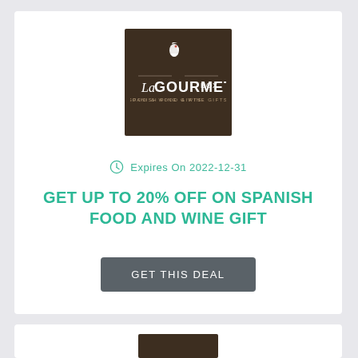[Figure (logo): La Gourmet Box logo on dark brown background with rooster icon and decorative text]
Expires On 2022-12-31
GET UP TO 20% OFF ON SPANISH FOOD AND WINE GIFT
GET THIS DEAL